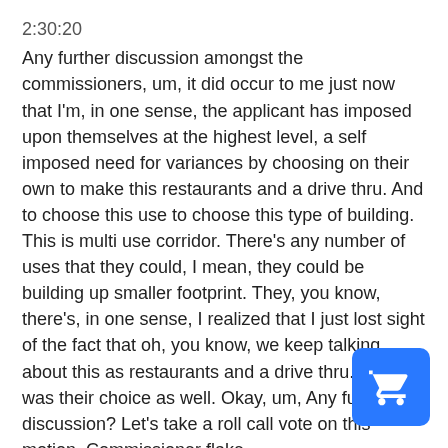2:30:20
Any further discussion amongst the commissioners, um, it did occur to me just now that I'm, in one sense, the applicant has imposed upon themselves at the highest level, a self imposed need for variances by choosing on their own to make this restaurants and a drive thru. And to choose this use to choose this type of building. This is multi use corridor. There's any number of uses that they could, I mean, they could be building up smaller footprint. They, you know, there's, in one sense, I realized that I just lost sight of the fact that oh, you know, we keep talking about this as restaurants and a drive thru. But that was their choice as well. Okay, um, Any further discussion? Let's take a roll call vote on this motion. Commissioner flake.
2:31:41
You